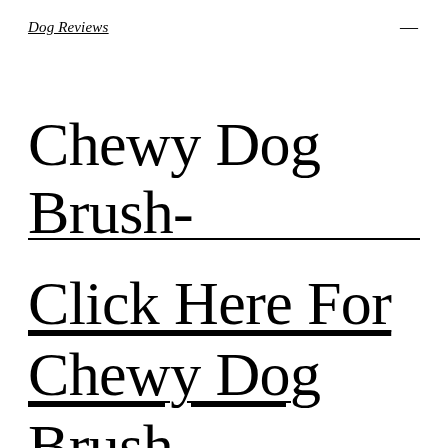Dog Reviews
Chewy Dog Brush-
Click Here For Chewy Dog Brush